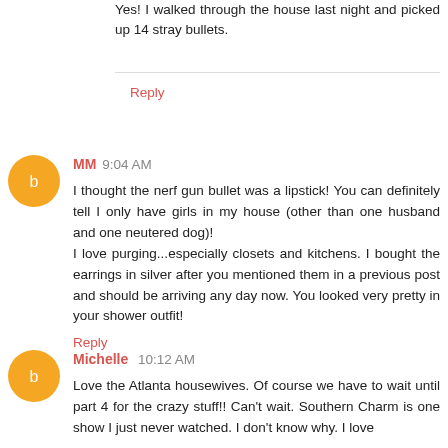Yes! I walked through the house last night and picked up 14 stray bullets.
Reply
MM  9:04 AM
I thought the nerf gun bullet was a lipstick! You can definitely tell I only have girls in my house (other than one husband and one neutered dog)!
I love purging...especially closets and kitchens. I bought the earrings in silver after you mentioned them in a previous post and should be arriving any day now. You looked very pretty in your shower outfit!
Reply
Michelle  10:12 AM
Love the Atlanta housewives. Of course we have to wait until part 4 for the crazy stuff!! Can't wait. Southern Charm is one show I just never watched. I don't know why. I love